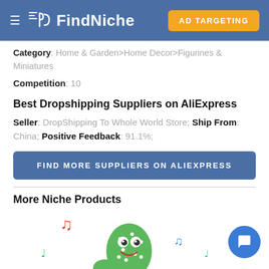FindNiche | AD TARGETING
Category: Home & Garden>Home Decor>Figurines & Miniatures
Competition: 10
Best Dropshipping Suppliers on AliExpress
Seller: DropShipping To Whole World Store; Ship From: China; Positive Feedback: 91.1%;
FIND MORE SUPPLIERS ON ALIEXPRESS
More Niche Products
[Figure (illustration): Cartoon cactus character with musical notes around it]